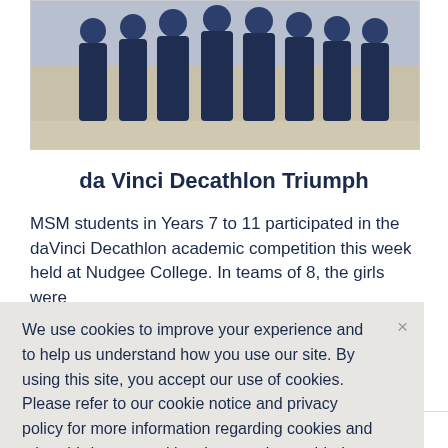[Figure (photo): Group photo of MSM students in dark navy academic gowns standing together]
da Vinci Decathlon Triumph
MSM students in Years 7 to 11 participated in the daVinci Decathlon academic competition this week held at Nudgee College. In teams of 8, the girls were required to collaborate in competing across disciplines...
We use cookies to improve your experience and to help us understand how you use our site. By using this site, you accept our use of cookies. Please refer to our cookie notice and privacy policy for more information regarding cookies and other third-party tracking that may be enabled.
Year 10: 3rd in Art and Poetry